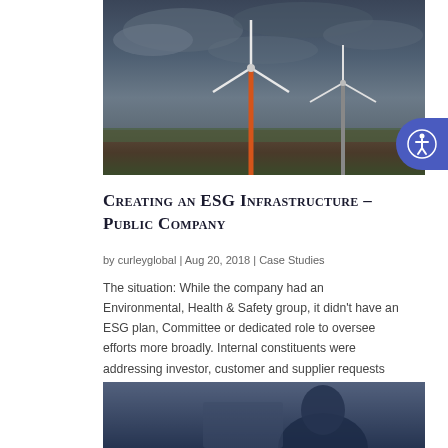[Figure (photo): Wind turbines on an open field under a dramatic cloudy sky, one turbine with an orange-red pole]
Creating an ESG Infrastructure – Public Company
by curleyglobal | Aug 20, 2018 | Case Studies
The situation: While the company had an Environmental, Health & Safety group, it didn't have an ESG plan, Committee or dedicated role to oversee efforts more broadly. Internal constituents were addressing investor, customer and supplier requests on an ad-hoc basis…
[Figure (photo): Close-up photo of a person, partially visible, with blurred background]